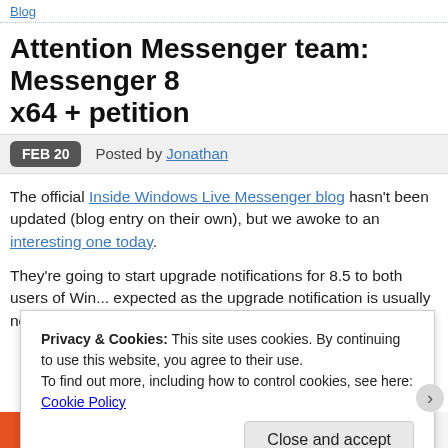Attention Messenger team: Messenger 8 x64 + petition
FEB 20   Posted by Jonathan
The official Inside Windows Live Messenger blog hasn't been updated (blog entry on their own), but we awoke to an interesting one today.
They're going to start upgrade notifications for 8.5 to both users of Win... expected as the upgrade notification is usually not given until 3 to 6 mo...
Privacy & Cookies: This site uses cookies. By continuing to use this website, you agree to their use. To find out more, including how to control cookies, see here: Cookie Policy
Close and accept